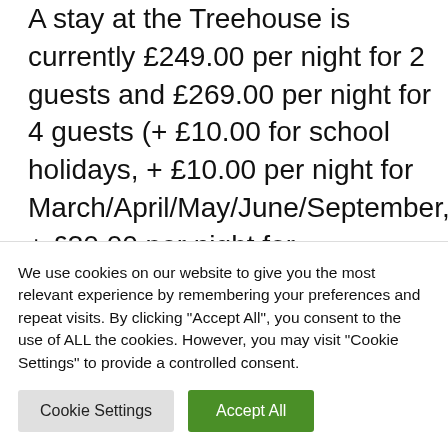A stay at the Treehouse is currently £249.00 per night for 2 guests and £269.00 per night for 4 guests (+ £10.00 for school holidays, + £10.00 per night for March/April/May/June/September, + £30.00 per night for July/August).
The...
We use cookies on our website to give you the most relevant experience by remembering your preferences and repeat visits. By clicking "Accept All", you consent to the use of ALL the cookies. However, you may visit "Cookie Settings" to provide a controlled consent.